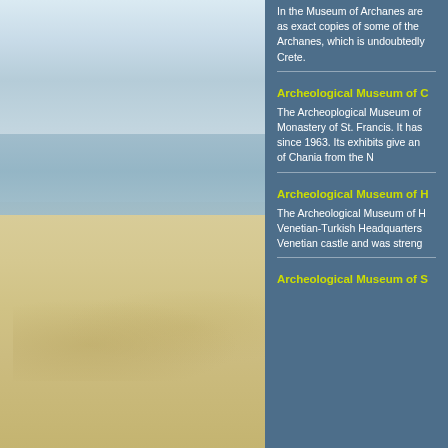[Figure (photo): Beach scene with sky, sea, and sand in soft pastel tones. Sandy beach in foreground with gentle waves and a light blue sky with clouds in background.]
In the Museum of Archanes are exhibited, as exact copies of some of the ... Archanes, which is undoubtedly ... Crete.
Archeological Museum of C
The Archeoplogical Museum of ... Monastery of St. Francis. It has ... since 1963. Its exhibits give an ... of Chania from the N
Archeological Museum of H
The Archeological Museum of H ... Venetian-Turkish Headquarters ... Venetian castle and was streng...
Archeological Museum of S